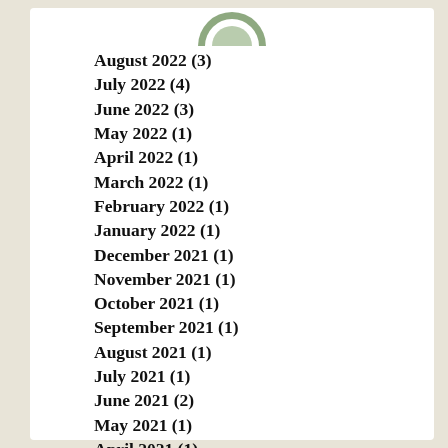[Figure (logo): Partial green circular logo at top center]
August 2022 (3)
July 2022 (4)
June 2022 (3)
May 2022 (1)
April 2022 (1)
March 2022 (1)
February 2022 (1)
January 2022 (1)
December 2021 (1)
November 2021 (1)
October 2021 (1)
September 2021 (1)
August 2021 (1)
July 2021 (1)
June 2021 (2)
May 2021 (1)
April 2021 (1)